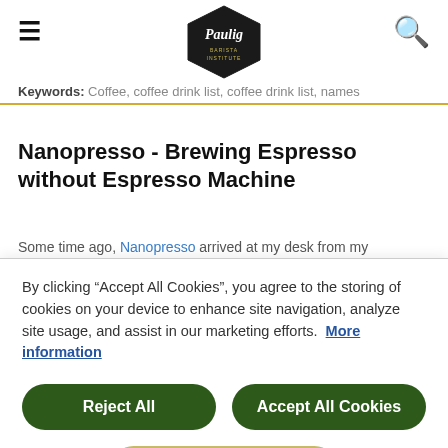Paulig Barista Institute [logo]
Keywords: Coffee, coffee drink list, coffee drink list, names
Nanopresso - Brewing Espresso without Espresso Machine
Some time ago, Nanopresso arrived at my desk from my
By clicking “Accept All Cookies”, you agree to the storing of cookies on your device to enhance site navigation, analyze site usage, and assist in our marketing efforts. More information
Reject All
Accept All Cookies
Cookies Settings